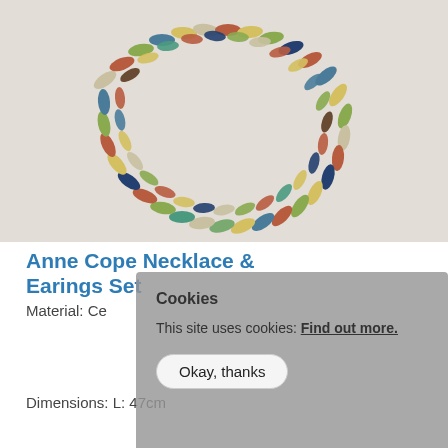[Figure (photo): A colorful ceramic disc bead necklace arranged in an oval shape on a light beige background. The discs are in multiple colors: yellow, blue, red/orange, green, teal, cream, dark brown, olive.]
Anne Cope Necklace & Earings Set
Material: Ce
Dimensions: L: 47cm
Cookies
This site uses cookies: Find out more.
Okay, thanks